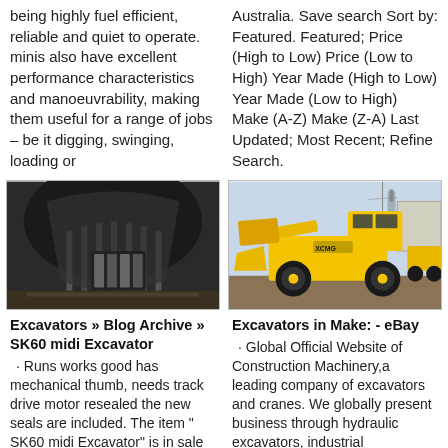being highly fuel efficient, reliable and quiet to operate. minis also have excellent performance characteristics and manoeuvrability, making them useful for a range of jobs – be it digging, swinging, loading or
Australia. Save search Sort by: Featured. Featured; Price (High to Low) Price (Low to High) Year Made (High to Low) Year Made (Low to High) Make (A-Z) Make (Z-A) Last Updated; Most Recent; Refine Search.
[Figure (photo): Close-up interior photo of excavator bucket or machinery component, dark metallic surfaces with ribbed/corrugated structure]
[Figure (photo): Outdoor photo of a yellow wheel loader / construction machine (XCMG brand) parked in a yard with other machinery in background]
Excavators » Blog Archive » SK60 midi Excavator · Runs works good has mechanical thumb, needs track drive motor resealed the new seals are included. The item "SK60 midi Excavator" is in sale
Excavators in Make: - eBay · Global Official Website of Construction Machinery,a leading company of excavators and cranes. We globally present business through hydraulic excavators, industrial